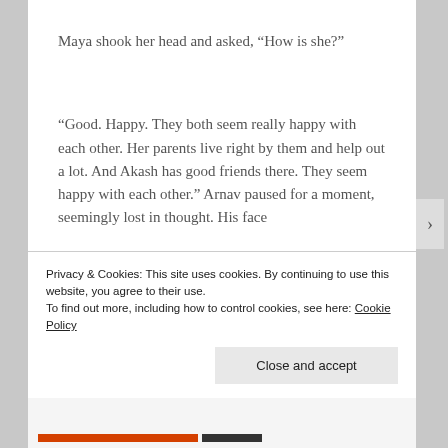Maya shook her head and asked, “How is she?”
“Good. Happy. They both seem really happy with each other. Her parents live right by them and help out a lot. And Akash has good friends there. They seem happy with each other.” Arnav paused for a moment, seemingly lost in thought. His face
Privacy & Cookies: This site uses cookies. By continuing to use this website, you agree to their use.
To find out more, including how to control cookies, see here: Cookie Policy
Close and accept